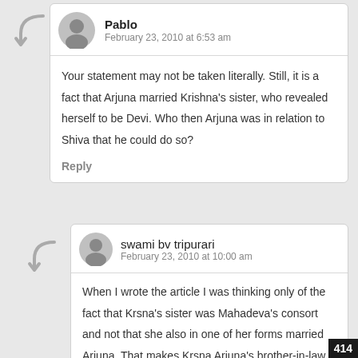Pablo — February 23, 2010 at 6:53 am
Your statement may not be taken literally. Still, it is a fact that Arjuna married Krishna’s sister, who revealed herself to be Devi. Who then Arjuna was in relation to Shiva that he could do so?
Reply
swami bv tripurari — February 23, 2010 at 10:00 am
When I wrote the article I was thinking only of the fact that Krsna’s sister was Mahadeva’s consort and not that she also in one of her forms married Arjuna. That makes Krsna Arjuna’s brother-in-law
414